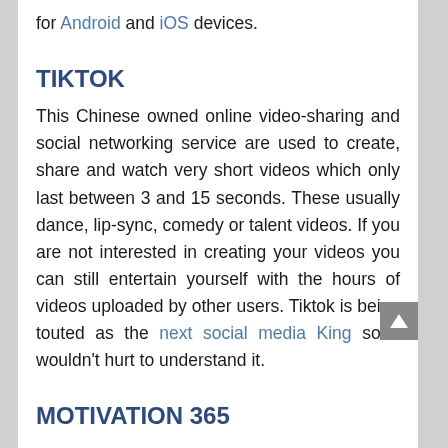for Android and iOS devices.
TIKTOK
This Chinese owned online video-sharing and social networking service are used to create, share and watch very short videos which only last between 3 and 15 seconds. These usually dance, lip-sync, comedy or talent videos. If you are not interested in creating your videos you can still entertain yourself with the hours of videos uploaded by other users. Tiktok is being touted as the next social media King so it wouldn't hurt to understand it.
MOTIVATION 365